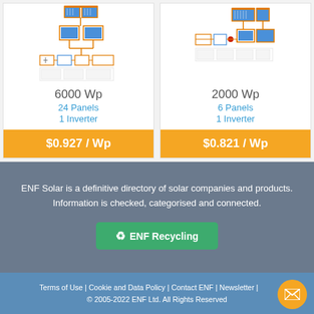[Figure (schematic): Solar panel system diagram showing 6000Wp configuration with 24 panels and 1 inverter]
6000 Wp
24 Panels
1 Inverter
$0.927 / Wp
[Figure (schematic): Solar panel system diagram showing 2000Wp configuration with 6 panels and 1 inverter]
2000 Wp
6 Panels
1 Inverter
$0.821 / Wp
ENF Solar is a definitive directory of solar companies and products. Information is checked, categorised and connected.
ENF Recycling
Terms of Use | Cookie and Data Policy | Contact ENF | Newsletter | © 2005-2022 ENF Ltd. All Rights Reserved